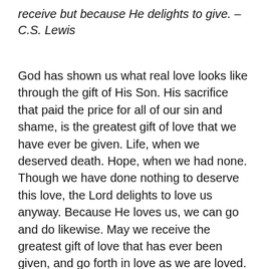receive but because He delights to give. – C.S. Lewis
God has shown us what real love looks like through the gift of His Son. His sacrifice that paid the price for all of our sin and shame, is the greatest gift of love that we have ever be given. Life, when we deserved death. Hope, when we had none. Though we have done nothing to deserve this love, the Lord delights to love us anyway. Because He loves us, we can go and do likewise. May we receive the greatest gift of love that has ever been given, and go forth in love as we are loved.